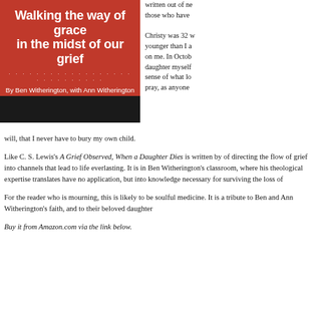[Figure (illustration): Book cover for 'Walking the way of grace in the midst of our grief' by Ben Witherington with Ann Witherington. Red/orange background with white bold title text, white dotted lines, and author name. Dark photo at bottom.]
written out of need, and those who have
Christy was 32 w younger than I a on me. In Octob daughter myself sense of what lo pray, as anyone
will, that I never have to bury my own child.
Like C. S. Lewis's A Grief Observed, When a Daughter Dies is written by of directing the flow of grief into channels that lead to life everlasting. It is in Ben Witherington's classroom, where his theological expertise translates have no application, but into knowledge necessary for surviving the loss of
For the reader who is mourning, this is likely to be soulful medicine. It is a tribute to Ben and Ann Witherington's faith, and to their beloved daughter
Buy it from Amazon.com via the link below.